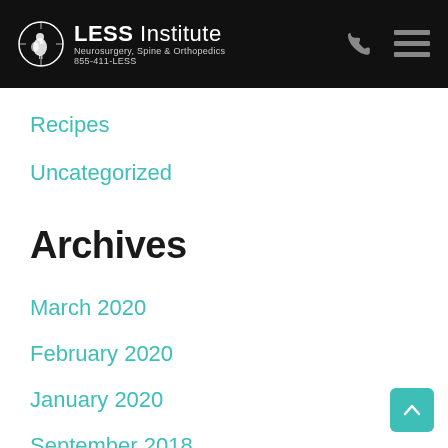LESS Institute | Neurosurgery, Spine & Orthopedics | 855-411-LESS
Recipes
Uncategorized
Archives
March 2020
February 2020
January 2020
September 2018